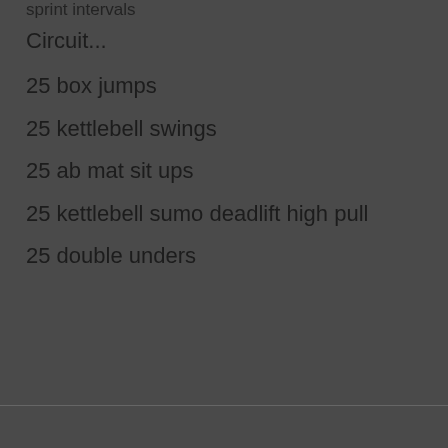sprint intervals
Circuit...
25 box jumps
25 kettlebell swings
25 ab mat sit ups
25 kettlebell sumo deadlift high pull
25 double unders